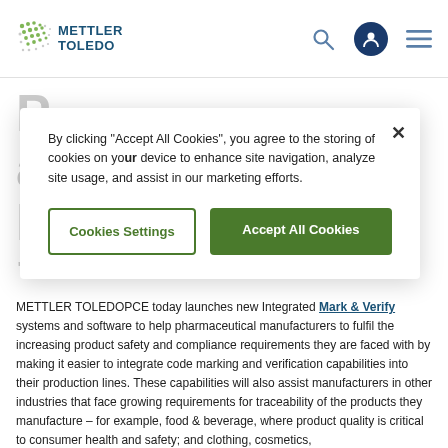[Figure (logo): Mettler Toledo logo with dot matrix graphic and blue text]
By clicking “Accept All Cookies”, you agree to the storing of cookies on your device to enhance site navigation, analyze site usage, and assist in our marketing efforts.
Cookies Settings
Accept All Cookies
METTLER TOLEDOPCE today launches new Integrated Mark & Verify systems and software to help pharmaceutical manufacturers to fulfil the increasing product safety and compliance requirements they are faced with by making it easier to integrate code marking and verification capabilities into their production lines. These capabilities will also assist manufacturers in other industries that face growing requirements for traceability of the products they manufacture – for example, food & beverage, where product quality is critical to consumer health and safety; and clothing, cosmetics,